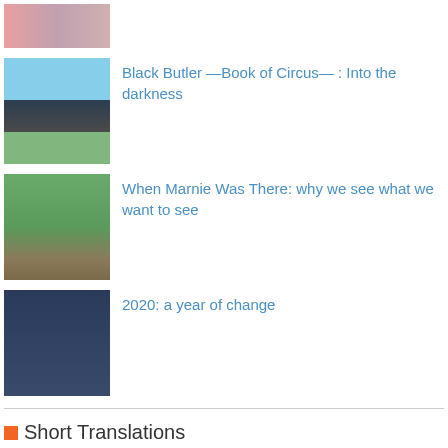[Figure (photo): Partial anime thumbnail at top, cropped]
[Figure (photo): Black Butler Book of Circus anime screenshot – character in dark clothing with sky background]
Black Butler —Book of Circus— : Into the darkness
[Figure (photo): When Marnie Was There anime screenshot – young girl with brown hair in green outdoor setting]
When Marnie Was There: why we see what we want to see
[Figure (photo): 2020 year of change – dark photo of what appears to be an airport or station]
2020: a year of change
Short Translations
Looking back on 2014, part 5: the question of 'equality'